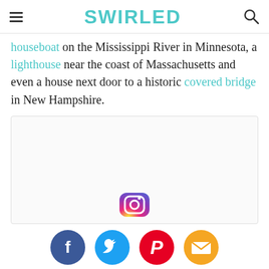SWIRLED
houseboat on the Mississippi River in Minnesota, a lighthouse near the coast of Massachusetts and even a house next door to a historic covered bridge in New Hampshire.
[Figure (other): Embedded social media content box with Instagram icon visible at bottom center]
[Figure (infographic): Social sharing icons row: Facebook (blue circle), Twitter (light blue circle), Pinterest (red circle), Email (orange/yellow circle)]